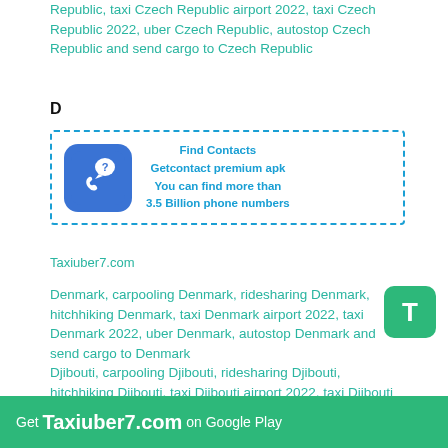Republic, taxi Czech Republic airport 2022, taxi Czech Republic 2022, uber Czech Republic, autostop Czech Republic and send cargo to Czech Republic
D
[Figure (infographic): Ad box with dashed blue border showing a phone icon on blue rounded square background and text: Find Contacts / Getcontact premium apk / You can find more than / 3.5 Billion phone numbers]
Taxiuber7.com
Denmark, carpooling Denmark, ridesharing Denmark, hitchhiking Denmark, taxi Denmark airport 2022, taxi Denmark 2022, uber Denmark, autostop Denmark and send cargo to Denmark
Djibouti, carpooling Djibouti, ridesharing Djibouti, hitchhiking Djibouti, taxi Djibouti airport 2022, taxi Djibouti 2022, uber Djibouti, autostop Djibouti and send cargo to Djibouti
Dominica, carpooling Dominica, ridesharing Dominica airport 2022, taxi Dominica 2022, uber Dominica
Get Taxiuber7.com on Google Play